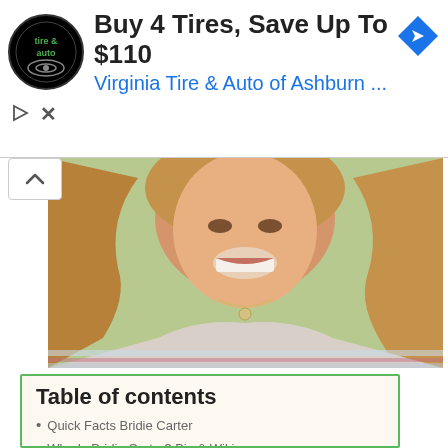[Figure (infographic): Advertisement banner for Virginia Tire & Auto of Ashburn. Shows logo (circular black badge with 'tire & auto' text), headline 'Buy 4 Tires, Save Up To $110', subline 'Virginia Tire & Auto of Ashburn ...', and a blue diamond-shaped navigation arrow icon on the right. Below the ad are play and close (X) control icons.]
[Figure (photo): Close-up photo of a smiling blonde woman with wavy hair wearing a striped shirt and delicate necklace, photographed outdoors with blurred green background.]
Table of contents
Quick Facts Bridie Carter
Who Is Bridie Carter? Bio & Wiki
Who is Bridie Carter's Husband? Married